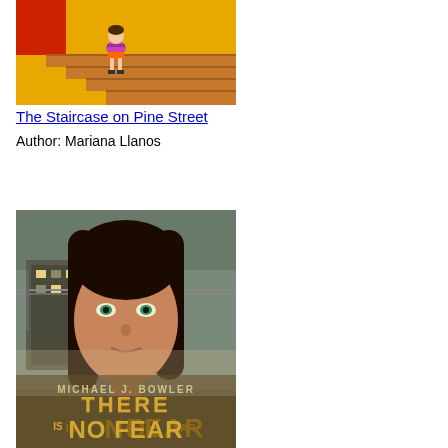[Figure (illustration): Book cover illustration for 'The Staircase on Pine Street' showing a cartoon girl sitting on orange/yellow stairs with a red background element]
The Staircase on Pine Street
Author: Mariana Llanos
[Figure (photo): Book cover for 'There Is No Fear' by Michael J. Bowler showing a young person with long dark hair against a gritty urban background with barbed wire fence]